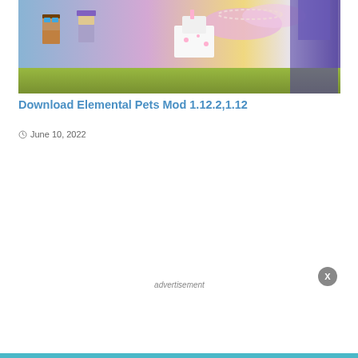[Figure (screenshot): Minecraft-style characters with colorful backgrounds including pets, a cat-like creature, and fantasy characters in a blocky game environment]
Download Elemental Pets Mod 1.12.2,1.12
June 10, 2022
[Figure (screenshot): Minecraft redstone/engineering mod screenshot showing white and red blocks forming a pathway with a crafting station or redstone device in the center, overlaid with an advertisement label]